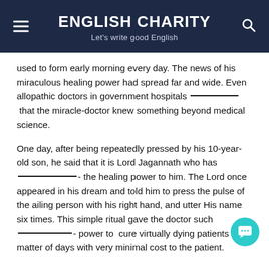ENGLISH CHARITY
Let's write good English
used to form early morning every day. The news of his miraculous healing power had spread far and wide. Even allopathic doctors in government hospitals ———————— that the miracle-doctor knew something beyond medical science.

One day, after being repeatedly pressed by his 10-year-old son, he said that it is Lord Jagannath who has ————————- the healing power to him. The Lord once appeared in his dream and told him to press the pulse of the ailing person with his right hand, and utter His name six times. This simple ritual gave the doctor such ————————- power to cure virtually dying patients in a matter of days with very minimal cost to the patient.